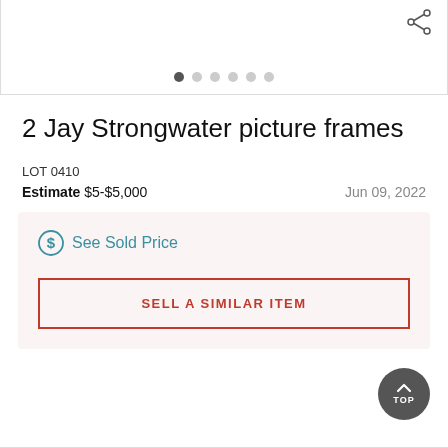[Figure (photo): Partial view of Jay Strongwater picture frames product image with carousel dots and share icon]
2 Jay Strongwater picture frames
LOT 0410
Estimate $5-$5,000     Jun 09, 2022
See Sold Price
SELL A SIMILAR ITEM